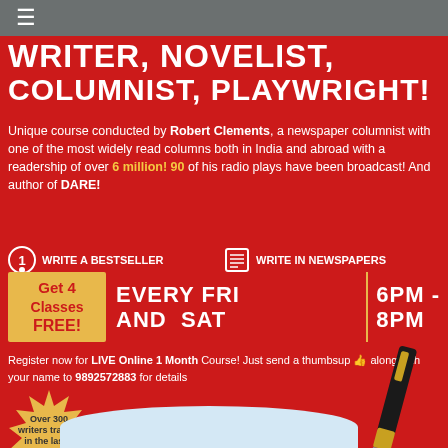☰
WRITER, NOVELIST, COLUMNIST, PLAYWRIGHT!
Unique course conducted by Robert Clements, a newspaper columnist with one of the most widely read columns both in India and abroad with a readership of over 6 million! 90 of his radio plays have been broadcast! And author of DARE!
① WRITE A BESTSELLER
☰ WRITE IN NEWSPAPERS
Get 4 Classes FREE!   EVERY FRI AND SAT  |  6PM - 8PM
Register now for LIVE Online 1 Month Course! Just send a thumbsup 👍 along with your name to 9892572883 for details
[Figure (infographic): Gold starburst badge with text: Over 300 writers trained in the last 1 year!]